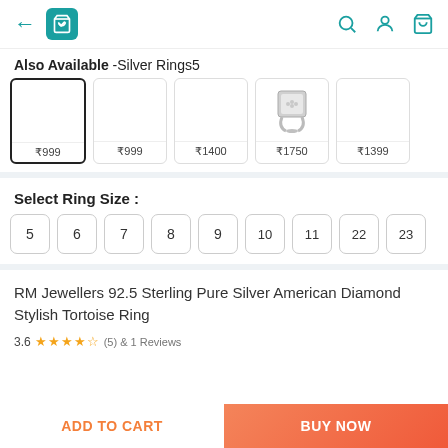Navigation bar with back arrow, shopping bag icon, search, account, and cart icons
Also Available -Silver Rings5
[Figure (other): Row of 5 product cards showing silver rings with prices: ₹999 (selected), ₹999, ₹1400, ₹1750, ₹1399]
Select Ring Size :
Ring sizes: 5, 6, 7, 8, 9, 10, 11, 22, 23
RM Jewellers 92.5 Sterling Pure Silver American Diamond Stylish Tortoise Ring
3.6 ★★★★☆ (5) & 1 Reviews
ADD TO CART | BUY NOW